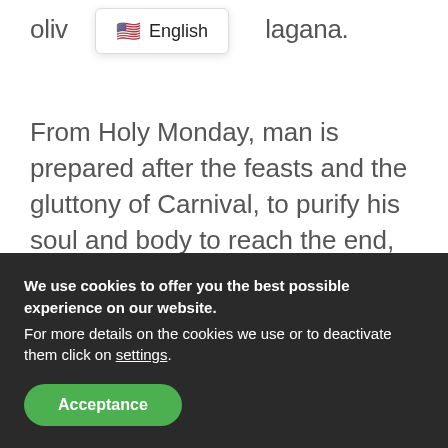oliv… lagana.
[Figure (screenshot): Language selector dropdown showing US flag emoji and 'English' text on a white rounded-rectangle background]
From Holy Monday, man is prepared after the feasts and the gluttony of Carnival, to purify his soul and body to reach the end, that is, at Easter and to be resurrected again with the Resurrection of the Lord. A typical example is the lagana that has the shape
We use cookies to offer you the best possible experience on our website.
For more details on the cookies we use or to deactivate them click on settings.
Acceptance